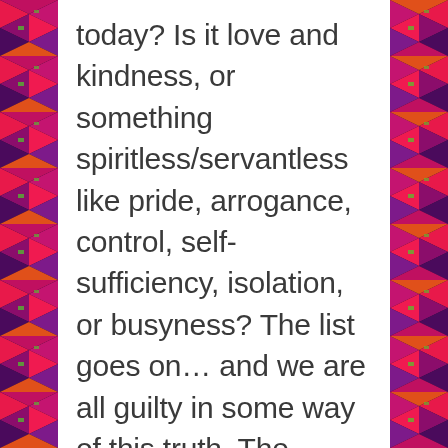today? Is it love and kindness, or something spiritless/servantless like pride, arrogance, control, self-sufficiency, isolation, or busyness? The list goes on… and we are all guilty in some way of this truth. The layers of ourselves begin to be washed away when the Holy Spirit takes